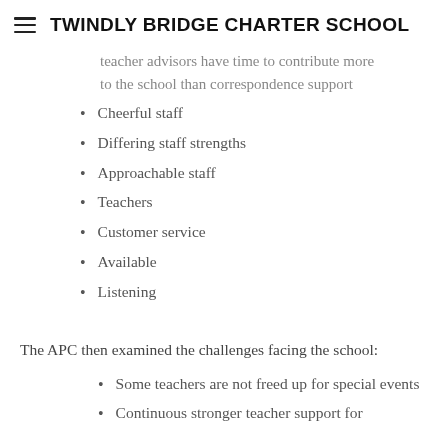TWINDLY BRIDGE CHARTER SCHOOL
teacher advisors have time to contribute more to the school than correspondence support
Cheerful staff
Differing staff strengths
Approachable staff
Teachers
Customer service
Available
Listening
The APC then examined the challenges facing the school:
Some teachers are not freed up for special events
Continuous stronger teacher support for